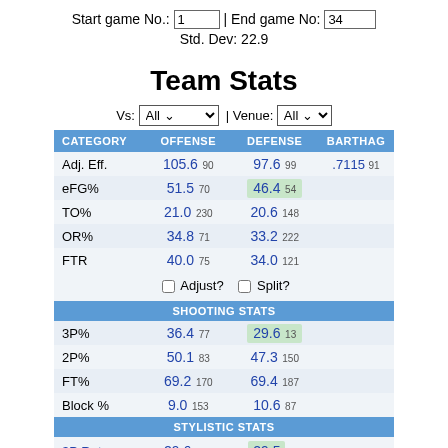Start game No.: 1 | End game No: 34
Std. Dev: 22.9
Team Stats
Vs: All | Venue: All
| CATEGORY | OFFENSE | DEFENSE | BARTHAG |
| --- | --- | --- | --- |
| Adj. Eff. | 105.6  90 | 97.6  99 | .7115  91 |
| eFG% | 51.5  70 | 46.4  54 |  |
| TO% | 21.0  230 | 20.6  148 |  |
| OR% | 34.8  71 | 33.2  222 |  |
| FTR | 40.0  75 | 34.0  121 |  |
| [Adjust?] [Split?] |  |  |  |
| SHOOTING STATS |  |  |  |
| 3P% | 36.4  77 | 29.6  13 |  |
| 2P% | 50.1  83 | 47.3  150 |  |
| FT% | 69.2  170 | 69.4  187 |  |
| Block % | 9.0  153 | 10.6  87 |  |
| STYLISTIC STATS |  |  |  |
| 3P Rate | 29.6  217 | 29.5  51 |  |